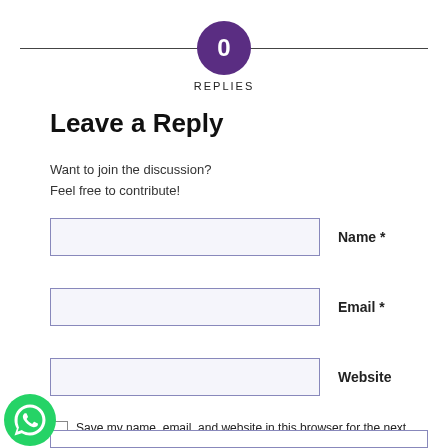[Figure (infographic): Purple circle badge with '0' centered, flanked by horizontal divider lines, with 'REPLIES' label below]
Leave a Reply
Want to join the discussion?
Feel free to contribute!
Name *
Email *
Website
Save my name, email, and website in this browser for the next time I comment.